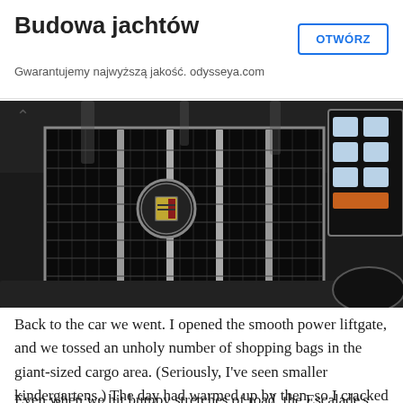Budowa jachtów
Gwarantujemy najwyższą jakość. odysseya.com
[Figure (photo): Close-up front view of a black Cadillac Escalade showing the chrome grille with Cadillac emblem and LED headlights]
Back to the car we went. I opened the smooth power liftgate, and we tossed an unholy number of shopping bags in the giant-sized cargo area. (Seriously, I've seen smaller kindergartens.) The day had warmed up by then, so I cracked open the Escalade's sunroof to let in a little air for the hour-long drive to the restaurant.
Even when we hit bumpy stretches of road, the Escalade's